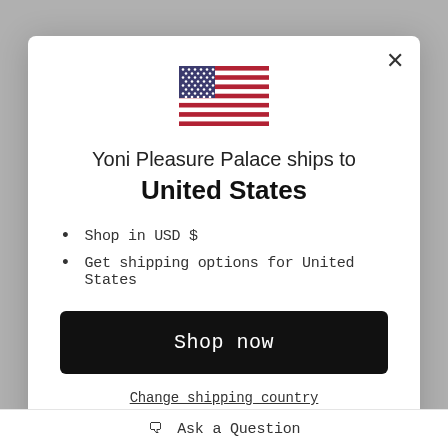[Figure (illustration): US flag emoji centered in modal]
Yoni Pleasure Palace ships to United States
Shop in USD $
Get shipping options for United States
Shop now
Change shipping country
Ask a Question